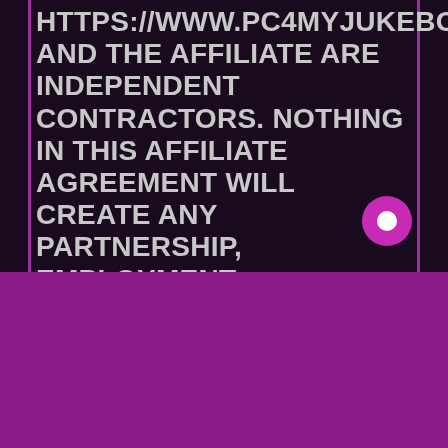HTTPS://WWW.PC4MYJUKEBOX.COM AND THE AFFILIATE ARE INDEPENDENT CONTRACTORS. NOTHING IN THIS AFFILIATE AGREEMENT WILL CREATE ANY PARTNERSHIP, EMPLOYMENT, REPRESENTATIVE, AGENCY, OR JOINT VENTURE RELATIONSHIP BETWEEN THE PARTIES. THE AFFILIATE HAS NO AUTHORITY TO ACT ON HTTPS://WWW.POSITIVECHANGEFORMYJUKEBOX.COM AND HTTPS://WWW.PC4MYJUKEBOX.COM
We use cookies to optimize our website and our service.
Accept
Cookie Policy   Privacy Policy